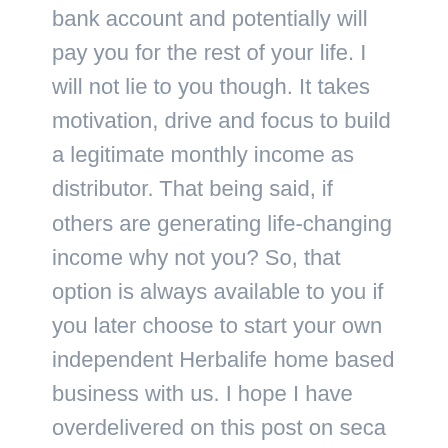bank account and potentially will pay you for the rest of your life. I will not lie to you though. It takes motivation, drive and focus to build a legitimate monthly income as distributor. That being said, if others are generating life-changing income why not you? So, that option is always available to you if you later choose to start your own independent Herbalife home based business with us. I hope I have overdelivered on this post on seca barriga Herbalife and you have the motivation and information you need.
Are you ready to get started with Herbalife? If so, click on the green button below. Remember, all